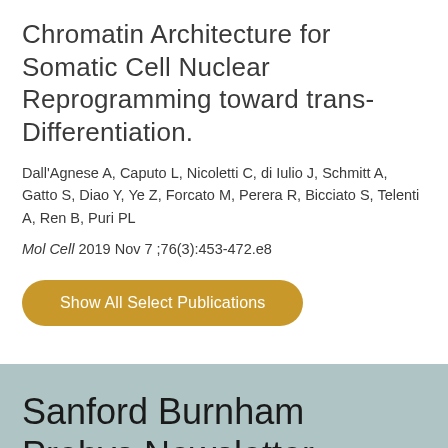Chromatin Architecture for Somatic Cell Nuclear Reprogramming toward trans-Differentiation.
Dall'Agnese A, Caputo L, Nicoletti C, di Iulio J, Schmitt A, Gatto S, Diao Y, Ye Z, Forcato M, Perera R, Bicciato S, Telenti A, Ren B, Puri PL
Mol Cell 2019 Nov 7 ;76(3):453-472.e8
Show All Select Publications
Sanford Burnham Prebys Newsletter
Subscribe to our monthly email newsletter Discoveries.